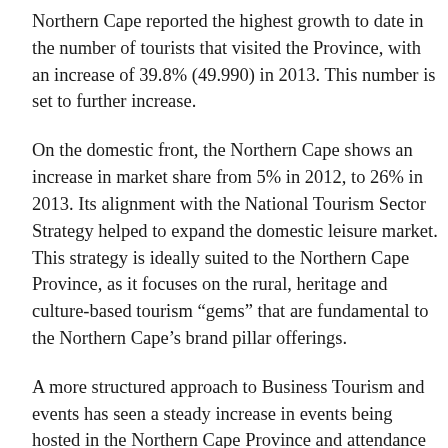Northern Cape reported the highest growth to date in the number of tourists that visited the Province, with an increase of 39.8% (49.990) in 2013. This number is set to further increase.
On the domestic front, the Northern Cape shows an increase in market share from 5% in 2012, to 26% in 2013. Its alignment with the National Tourism Sector Strategy helped to expand the domestic leisure market. This strategy is ideally suited to the Northern Cape Province, as it focuses on the rural, heritage and culture-based tourism “gems” that are fundamental to the Northern Cape’s brand pillar offerings.
A more structured approach to Business Tourism and events has seen a steady increase in events being hosted in the Northern Cape Province and attendance at these events.
Signature events such as the Kimberley Diamond Cup, the Bloodhound Land Speed Record attempt, the Kalahari Desert Speed Week and Africa Burn supports the destination position